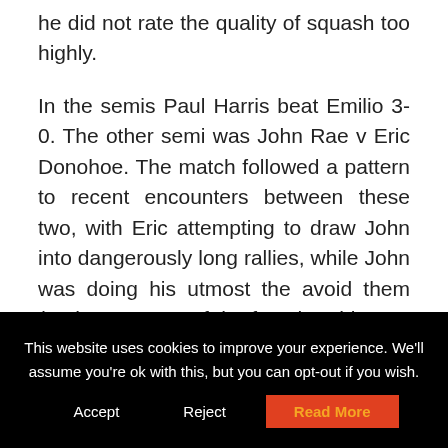he did not rate the quality of squash too highly.
In the semis Paul Harris beat Emilio 3-0. The other semi was John Rae v Eric Donohoe. The match followed a pattern to recent encounters between these two, with Eric attempting to draw John into dangerously long rallies, while John was doing his utmost the avoid them (perhaps aware of the fact that this was only his
This website uses cookies to improve your experience. We'll assume you're ok with this, but you can opt-out if you wish.
Accept   Reject   Read More